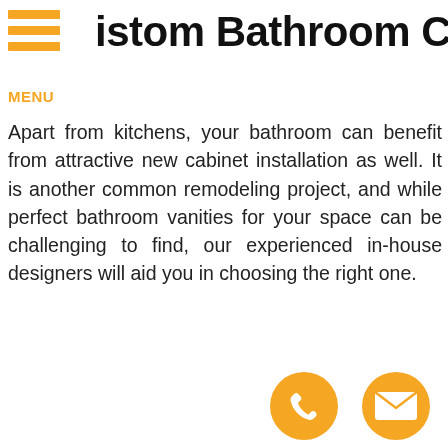MENU
Custom Bathroom Cabinetry
Apart from kitchens, your bathroom can benefit from attractive new cabinet installation as well. It is another common remodeling project, and while perfect bathroom vanities for your space can be challenging to find, our experienced in-house designers will aid you in choosing the right one.
[Figure (illustration): Phone icon — orange circle with white telephone handset symbol]
[Figure (illustration): Email icon — orange circle with white envelope symbol]